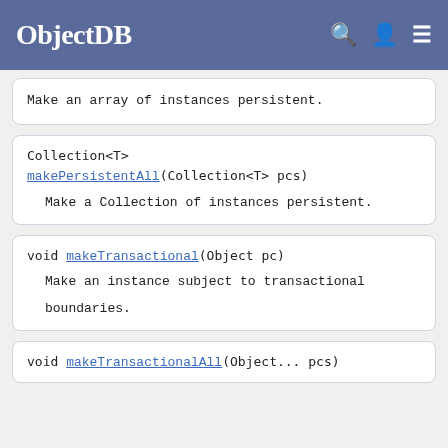ObjectDB
Make an array of instances persistent.
Collection<T> makePersistentAll(Collection<T> pcs)
Make a Collection of instances persistent.
void makeTransactional(Object pc)
Make an instance subject to transactional boundaries.
void makeTransactionalAll(Object... pcs)